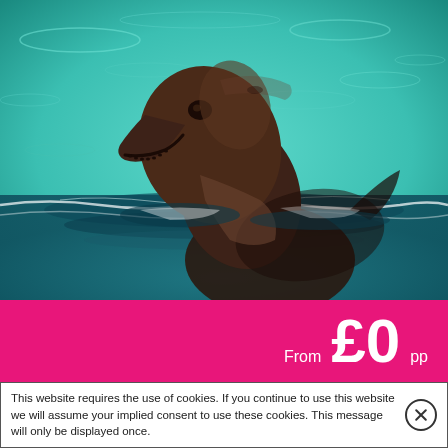[Figure (photo): A bottlenose dolphin with its head raised above turquoise/teal water, mouth open showing teeth, brown/dark grey skin, looking upward. Ocean water with ripples and reflections visible.]
From £0 pp
This website requires the use of cookies. If you continue to use this website we will assume your implied consent to use these cookies. This message will only be displayed once.